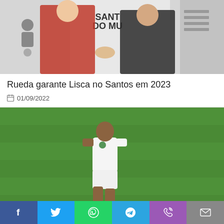[Figure (photo): Two men shaking hands in front of a Santos FC backdrop. One wearing a red jacket, the other in a dark sweater.]
Rueda garante Lisca no Santos em 2023
01/09/2022
[Figure (photo): A Palmeiras footballer in white kit walking on a green football pitch.]
Palmeiras empata com o Athletico-PR e vai à final do Brasileirão sub-20